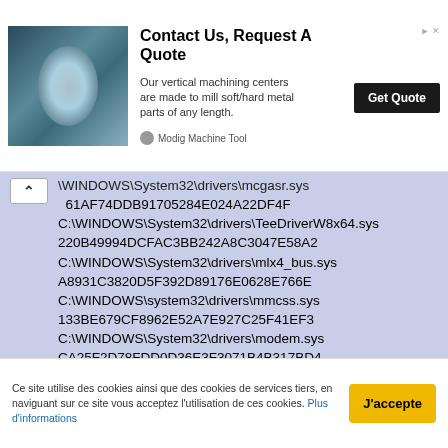[Figure (screenshot): Advertisement banner for Modig Machine Tool with an industrial tunnel/machining center image, headline 'Contact Us, Request A Quote', description text, and a 'Get Quote' button]
\WINDOWS\System32\drivers\mcgasr.sys
61AF74DDB91705284E024A22DF4F
C:\WINDOWS\System32\drivers\TeeDriverW8x64.sys
220B49994DCFAC3BB242A8C3047E58A2
C:\WINDOWS\System32\drivers\mlx4_bus.sys
A8931C3820D5F392D89176E0628E766E
C:\WINDOWS\system32\drivers\mmcss.sys
133BE679CF8962E52A7E927C25F41EF3
C:\WINDOWS\System32\drivers\modem.sys
CA25F2D78FDD0D36E3F3071B4B317BD4
C:\WINDOWS\System32\drivers\monitor.sys
13142B3B30F633F407D5256B2FFCCEF0
C:\WINDOWS\System32\drivers\mouclass.sys
66C9CCC6A100ACF7A4514BD3091CE566
C:\WINDOWS\System32\drivers\mouhid.sys
Ce site utilise des cookies ainsi que des cookies de services tiers, en naviguant sur ce site vous acceptez l'utilisation de ces cookies. Plus d'informations